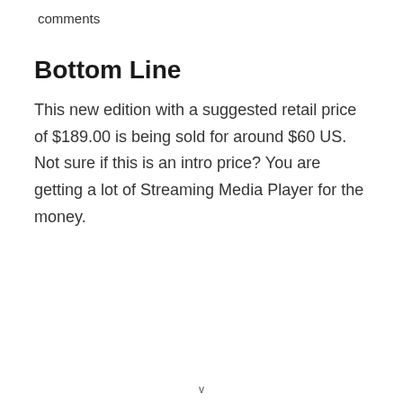comments
Bottom Line
This new edition with a suggested retail price of $189.00 is being sold for around $60 US. Not sure if this is an intro price? You are getting a lot of Streaming Media Player for the money.
v